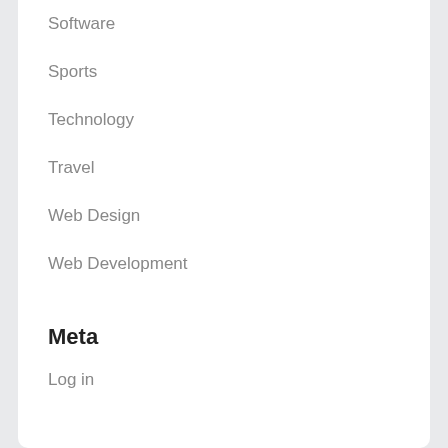Software
Sports
Technology
Travel
Web Design
Web Development
Web Hosting
wedding
Meta
Log in